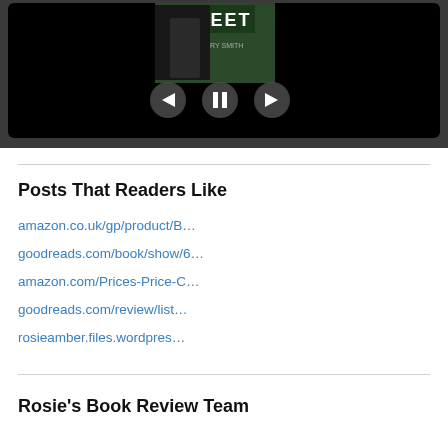[Figure (screenshot): A dark video/slideshow player widget showing a book cover with the word STREET visible and a figure, with navigation arrows (previous, pause, next) overlaid on a black background, framed by a dark rounded rectangle border.]
Posts That Readers Like
amazon.co.uk/gp/product/B…
goodreads.com/book/show/6…
amazon.com/Prices-Price-C…
goodreads.com/review/list…
rosieamber.files.wordpres…
Rosie's Book Review Team